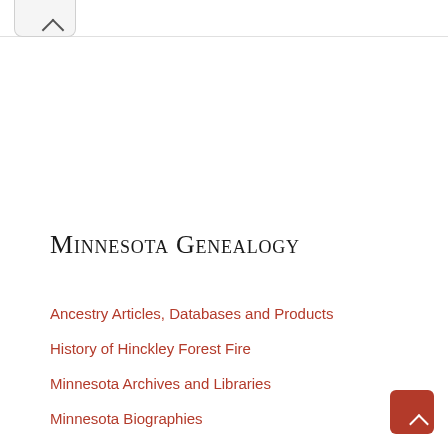^
Minnesota Genealogy
Ancestry Articles, Databases and Products
History of Hinckley Forest Fire
Minnesota Archives and Libraries
Minnesota Biographies